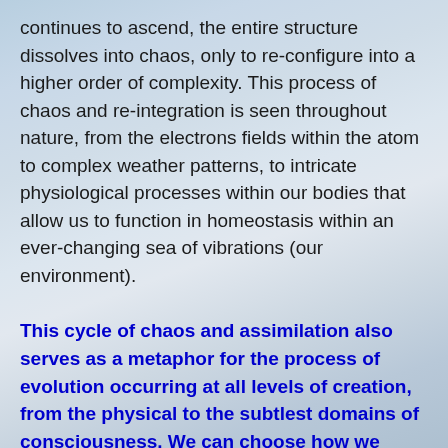continues to ascend, the entire structure dissolves into chaos, only to re-configure into a higher order of complexity. This process of chaos and re-integration is seen throughout nature, from the electrons fields within the atom to complex weather patterns, to intricate physiological processes within our bodies that allow us to function in homeostasis within an ever-changing sea of vibrations (our environment).
This cycle of chaos and assimilation also serves as a metaphor for the process of evolution occurring at all levels of creation, from the physical to the subtlest domains of consciousness. We can choose how we navigate our experience in that we can either get caught up in chaotic turmoil, or we can accept a reality and